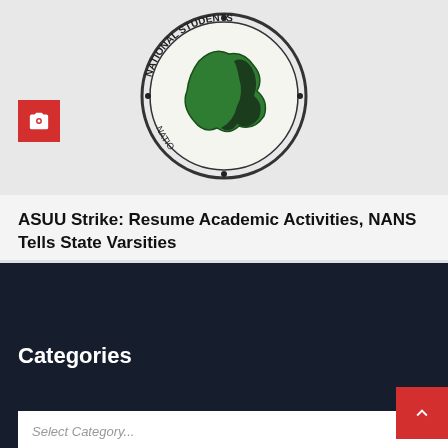[Figure (logo): NANS (National Association of Nigerian Students) circular logo with green and black design, shown upside-down/partially]
ASUU Strike: Resume Academic Activities, NANS Tells State Varsities
Aug 31, 2022   Ojuasha
Categories
Select Category